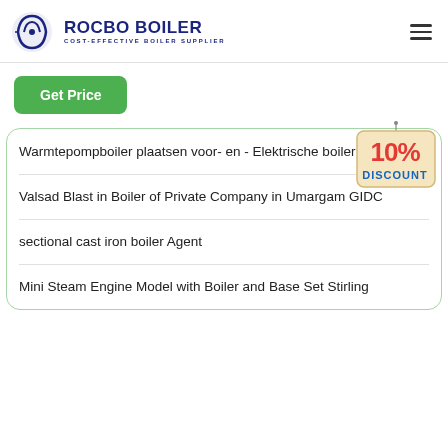ROCBO BOILER — COST-EFFECTIVE BOILER SUPPLIER
Get Price
[Figure (illustration): 10% DISCOUNT badge/tag graphic]
Warmtepompboiler plaatsen voor- en - Elektrische boiler
Valsad Blast in Boiler of Private Company in Umargam GIDC
sectional cast iron boiler Agent
Mini Steam Engine Model with Boiler and Base Set Stirling